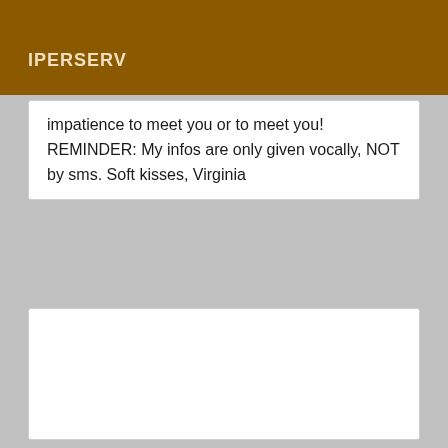IPERSERV
impatience to meet you or to meet you! REMINDER: My infos are only given vocally, NOT by sms. Soft kisses, Virginia
[Figure (other): Empty white box area]